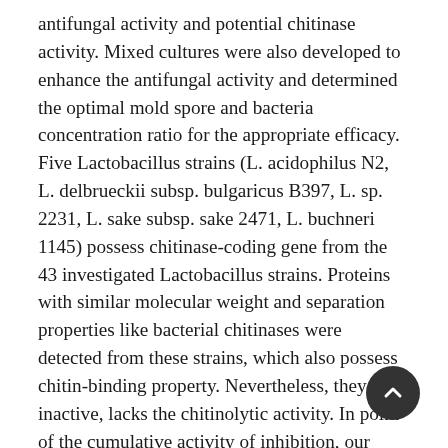antifungal activity and potential chitinase activity. Mixed cultures were also developed to enhance the antifungal activity and determined the optimal mold spore and bacteria concentration ratio for the appropriate efficacy. Five Lactobacillus strains (L. acidophilus N2, L. delbrueckii subsp. bulgaricus B397, L. sp. 2231, L. sake subsp. sake 2471, L. buchneri 1145) possess chitinase-coding gene from the 43 investigated Lactobacillus strains. Proteins with similar molecular weight and separation properties like bacterial chitinases were detected from these strains, which also possess chitin-binding property. Nevertheless, they were inactive, lacks the chitinolytic activity. In point of the cumulative activity of inhibition, our results showed that certain strains were statistically significant in a positive direction compared to other strains, e.g., L. rhamnosus VT1 and L. Casey